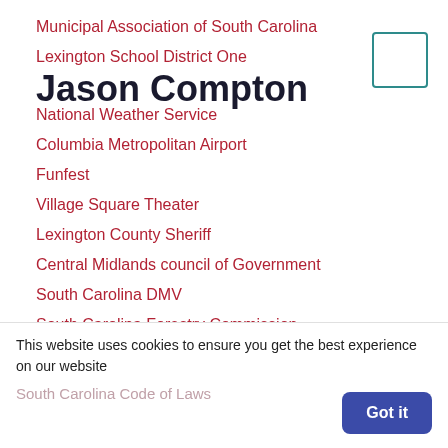Municipal Association of South Carolina
Lexington School District One
Jason Compton
National Weather Service
Columbia Metropolitan Airport
Funfest
Village Square Theater
Lexington County Sheriff
Central Midlands council of Government
South Carolina DMV
South Carolina Forestry Commission
Keep the Midlands Beautiful
South Carolina Government
This website uses cookies to ensure you get the best experience on our website
South Carolina Code of Laws